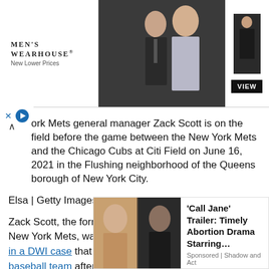[Figure (other): Men's Wearhouse advertisement banner showing a couple in formal wear and a man in a suit with 'VIEW' button]
ork Mets general manager Zack Scott is on the field before the game between the New York Mets and the Chicago Cubs at Citi Field on June 16, 2021 in the Flushing neighborhood of the Queens borough of New York City.
Elsa | Getty Images
Zack Scott, the former acting general manager for the New York Mets, was found not guilty Thursday morning in a DWI case that had led to his firing from that baseball team after a tenure of less than one year.
Scott reportedly was ordered by the judge in the case to pay two fine
[Figure (other): Advertisement overlay for 'Call Jane' Trailer: Timely Abortion Drama Starring... Sponsored by Shadow and Act]